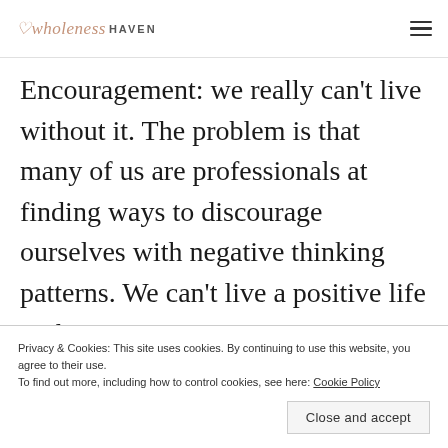wholeness HAVEN
Encouragement: we really can’t live without it. The problem is that many of us are professionals at finding ways to discourage ourselves with negative thinking patterns. We can’t live a positive life with a negative …
Privacy & Cookies: This site uses cookies. By continuing to use this website, you agree to their use.
To find out more, including how to control cookies, see here: Cookie Policy
Close and accept